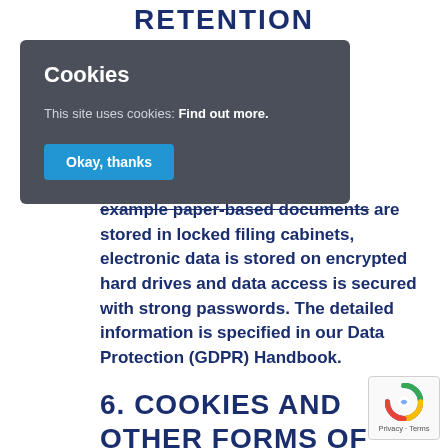RETENTION
[Figure (screenshot): Cookie consent overlay with dark background. Title 'Cookies', text 'This site uses cookies: Find out more.', and a blue 'Okay, thanks' button.]
example paper-based documents are stored in locked filing cabinets, electronic data is stored on encrypted hard drives and data access is secured with strong passwords. The detailed information is specified in our Data Protection (GDPR) Handbook.
6. COOKIES AND OTHER FORMS OF
[Figure (logo): reCAPTCHA badge with Privacy and Terms text]